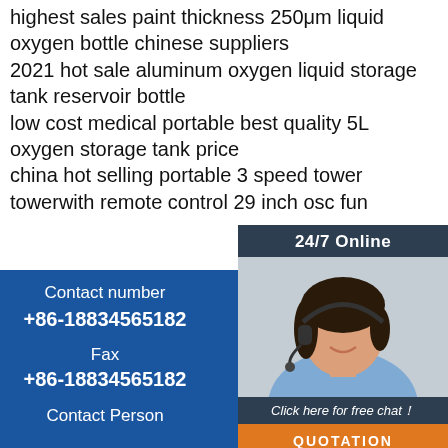highest sales paint thickness 250μm liquid oxygen bottle chinese suppliers
2021 hot sale aluminum oxygen liquid storage tank reservoir bottle
low cost medical portable best quality 5L oxygen storage tank price
china hot selling portable 3 speed tower towerwith remote control 29 inch osc fun
[Figure (photo): Customer service representative woman wearing headset, smiling, with '24/7 Online' header, 'Click here for free chat!' text, and orange QUOTATION button]
Contact number
+86-18834565182
Fax
+86-18834565182
Contact Person
[Figure (logo): TOP logo in orange with dot pattern above]